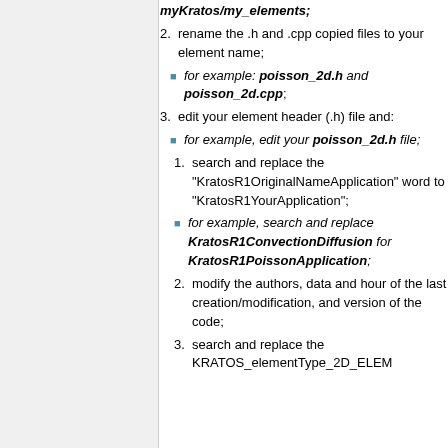myKratos/my_elements;
2. rename the .h and .cpp copied files to your element name;
for example: poisson_2d.h and poisson_2d.cpp;
3. edit your element header (.h) file and:
for example, edit your poisson_2d.h file;
1. search and replace the "KratosR1OriginalNameApplication" word to "KratosR1YourApplication";
for example, search and replace KratosR1ConvectionDiffusion for KratosR1PoissonApplication;
2. modify the authors, data and hour of the last creation/modification, and version of the code;
3. search and replace the KRATOS_elementType_2D_ELEM